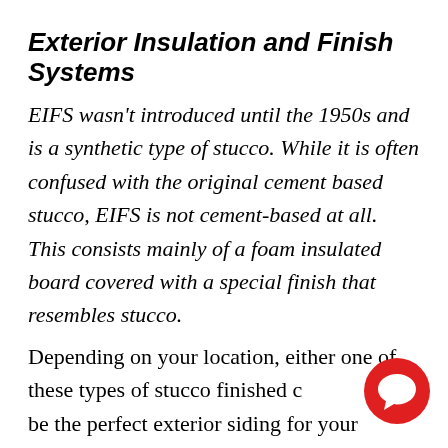Exterior Insulation and Finish Systems
EIFS wasn't introduced until the 1950s and is a synthetic type of stucco. While it is often confused with the original cement based stucco, EIFS is not cement-based at all. This consists mainly of a foam insulated board covered with a special finish that resembles stucco.
Depending on your location, either one of these types of stucco finished c… be the perfect exterior siding for your…
[Figure (illustration): Red circular chat bubble icon with white speech bubble symbol, positioned in lower-right corner]